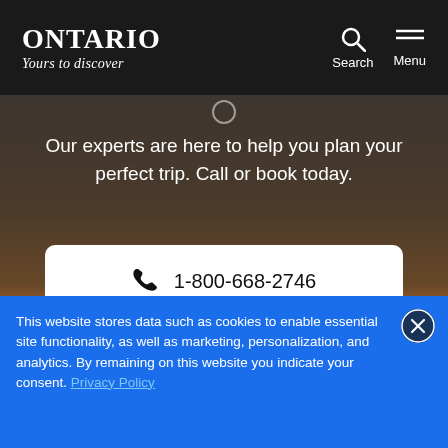Ontario Yours to discover — Search Menu
Our experts are here to help you plan your perfect trip. Call or book today.
1-800-668-2746
Book a virtual appointment
This website stores data such as cookies to enable essential site functionality, as well as marketing, personalization, and analytics. By remaining on this website you indicate your consent. Privacy Policy